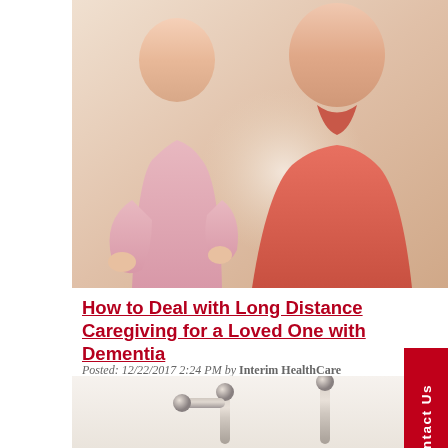[Figure (photo): Two people sitting together, one in a pink top (caregiver) and one in a red/salmon polo shirt (elderly person), viewed from behind/side, warm background lighting.]
How to Deal with Long Distance Caregiving for a Loved One with Dementia
Posted: 12/22/2017 2:24 PM by Interim HealthCare
Being away from your elderly loved one is difficult as a distance family caregiver, but if she's diagnosed with dementia, that can make you a little more nervous. Finding ways to compensate for the distance involved can help you and your elderly loved one to feel more at ease.
[Figure (photo): Close-up of bathroom grab bars (safety rails) mounted on a white wall, chrome/brushed nickel finish.]